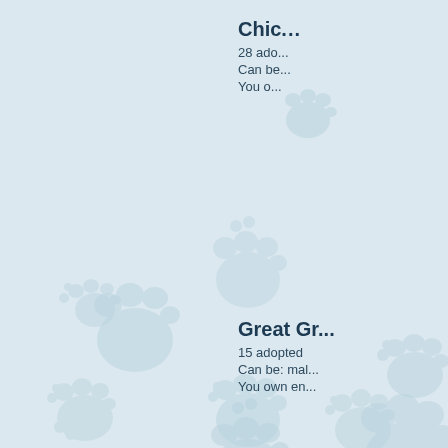[Figure (illustration): Light blue background with decorative paw print patterns scattered across the page in a pale blue/teal color]
Chic...
28 ado...
Can be...
You o...
Great Gr...
15 adopted
Can be: mal...
You own en...